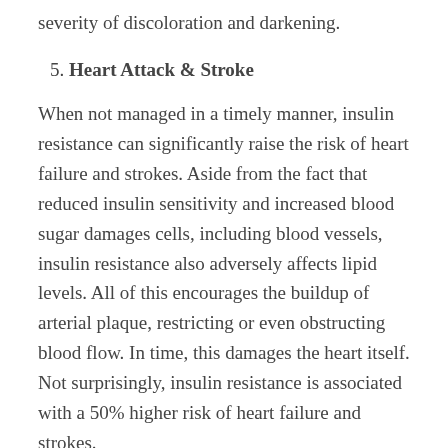severity of discoloration and darkening.
5. Heart Attack & Stroke
When not managed in a timely manner, insulin resistance can significantly raise the risk of heart failure and strokes. Aside from the fact that reduced insulin sensitivity and increased blood sugar damages cells, including blood vessels, insulin resistance also adversely affects lipid levels. All of this encourages the buildup of arterial plaque, restricting or even obstructing blood flow. In time, this damages the heart itself. Not surprisingly, insulin resistance is associated with a 50% higher risk of heart failure and strokes.